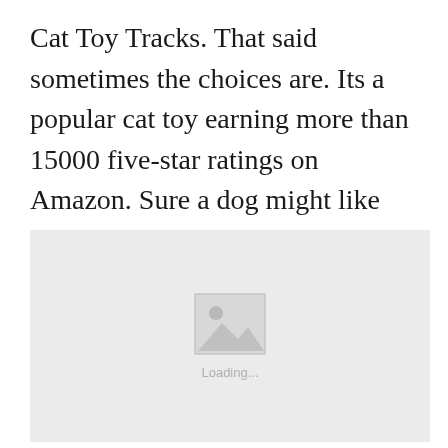Cat Toy Tracks. That said sometimes the choices are. Its a popular cat toy earning more than 15000 five-star ratings on Amazon. Sure a dog might like any old toy you throw their way but cats have taste.
[Figure (photo): Image placeholder with loading indicator showing a mountain/image icon and 'Loading...' text on a light gray background]